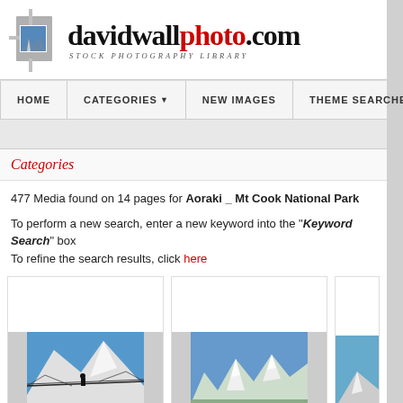[Figure (logo): davidwallphoto.com Stock Photography Library logo with mountain photo icon]
HOME | CATEGORIES | NEW IMAGES | THEME SEARCHES | LIG...
Categories
477 Media found on 14 pages for Aoraki _ Mt Cook National Park
To perform a new search, enter a new keyword into the "Keyword Search" box To refine the search results, click here
[Figure (photo): Person crossing a suspension bridge with snowy mountain peaks in background]
[Figure (photo): Snow-capped mountain range with glacier and blue sky]
[Figure (photo): Partially visible mountain/coastal landscape photo]